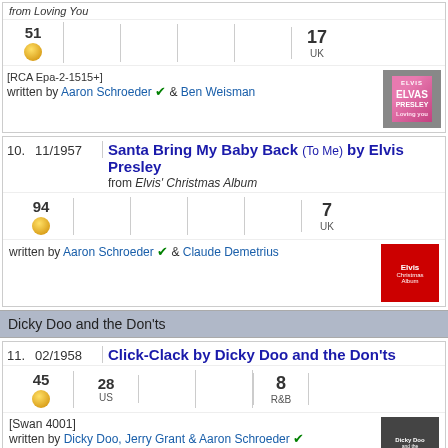from Loving You
51  17 UK
[RCA Epa-2-1515+]
written by Aaron Schroeder & Ben Weisman
[Figure (photo): Elvis Presley Loving You album cover]
10.  11/1957  Santa Bring My Baby Back (To Me) by Elvis Presley
from Elvis' Christmas Album
94  7 UK
written by Aaron Schroeder & Claude Demetrius
[Figure (photo): Elvis' Christmas Album cover]
Dicky Doo and the Don'ts
11.  02/1958  Click-Clack by Dicky Doo and the Don'ts
45  28 US  8 R&B
[Swan 4001]
written by Dicky Doo, Jerry Grant & Aaron Schroeder
[Figure (photo): Dicky Doo and the Don'ts album cover]
Marvin Rainwater
12.  09/1958  Nothin' Needs Nothin' (Like I Need You) by Marvin Rainwater